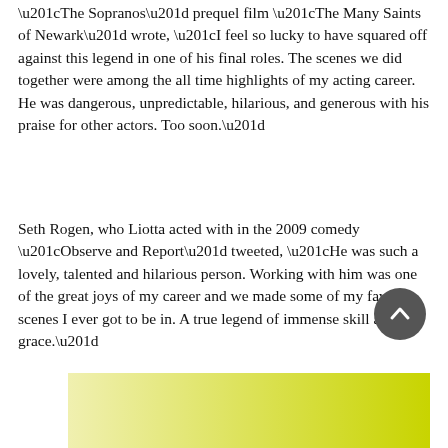“The Sopranos” prequel film “The Many Saints of Newark” wrote, “I feel so lucky to have squared off against this legend in one of his final roles. The scenes we did together were among the all time highlights of my acting career. He was dangerous, unpredictable, hilarious, and generous with his praise for other actors. Too soon.”
Seth Rogen, who Liotta acted with in the 2009 comedy “Observe and Report” tweeted, “He was such a lovely, talented and hilarious person. Working with him was one of the great joys of my career and we made some of my favorite scenes I ever got to be in. A true legend of immense skill and grace.”
[Figure (other): A yellow-green horizontal gradient rectangle at the bottom of the page]